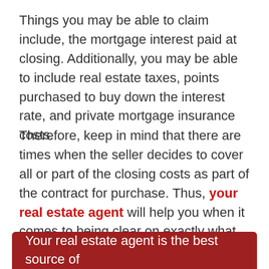Things you may be able to claim include, the mortgage interest paid at closing. Additionally, you may be able to include real estate taxes, points purchased to buy down the interest rate, and private mortgage insurance costs.
Therefore, keep in mind that there are times when the seller decides to cover all or part of the closing costs as part of the contract for purchase. Thus, your real estate agent will help you when it comes to being clear on exactly what you're responsible for paying on closing day.
Your real estate agent is the best source of